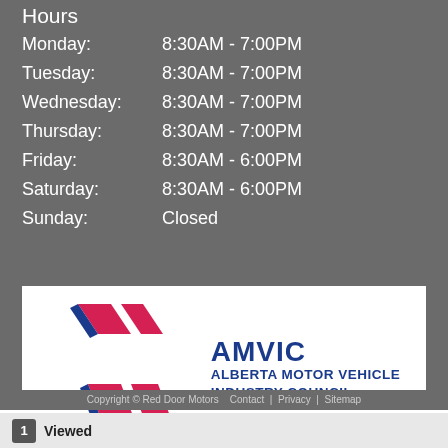Hours
| Day | Hours |
| --- | --- |
| Monday: | 8:30AM - 7:00PM |
| Tuesday: | 8:30AM - 7:00PM |
| Wednesday: | 8:30AM - 7:00PM |
| Thursday: | 8:30AM - 7:00PM |
| Friday: | 8:30AM - 6:00PM |
| Saturday: | 8:30AM - 6:00PM |
| Sunday: | Closed |
[Figure (logo): AMVIC - Alberta Motor Vehicle Industry Council logo with red stylized wing/road emblem and blue text]
Copyright © Red Door Motors   Contact  |  Privacy  |  Sitemap
1  Viewed